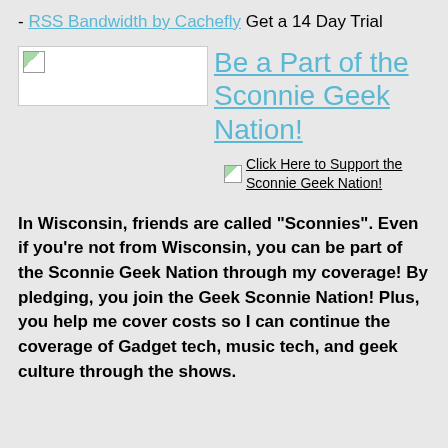- RSS Bandwidth by Cachefly Get a 14 Day Trial
[Figure (illustration): Broken image placeholder next to a link reading 'Be a Part of the Sconnie Geek Nation!']
[Figure (illustration): Small broken image placeholder next to link text 'Click Here to Support the Sconnie Geek Nation!']
In Wisconsin, friends are called "Sconnies". Even if you're not from Wisconsin, you can be part of the Sconnie Geek Nation through my coverage! By pledging, you join the Geek Sconnie Nation! Plus, you help me cover costs so I can continue the coverage of Gadget tech, music tech, and geek culture through the shows.